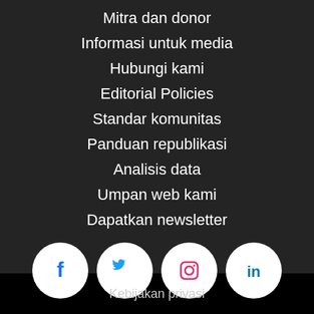Mitra dan donor
Informasi untuk media
Hubungi kami
Editorial Policies
Standar komunitas
Panduan republikasi
Analisis data
Umpan web kami
Dapatkan newsletter
[Figure (infographic): Four social media icons in white circles: Facebook, Twitter, Instagram, LinkedIn]
Kebijakan privasi